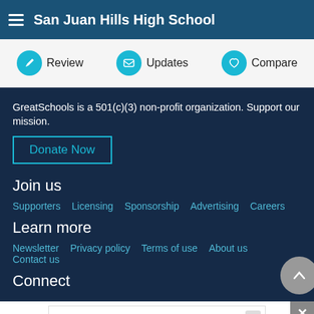San Juan Hills High School
Review
Updates
Compare
GreatSchools is a 501(c)(3) non-profit organization. Support our mission.
Donate Now
Join us
Supporters  Licensing  Sponsorship  Advertising  Careers
Learn more
Newsletter  Privacy policy  Terms of use  About us  Contact us
Connect
[Figure (screenshot): Advertisement banner for Cisa.gov/schools with large blue link text, smaller text 'Cisa.gov/schools', and an Open button]
ADVERTISEMENT